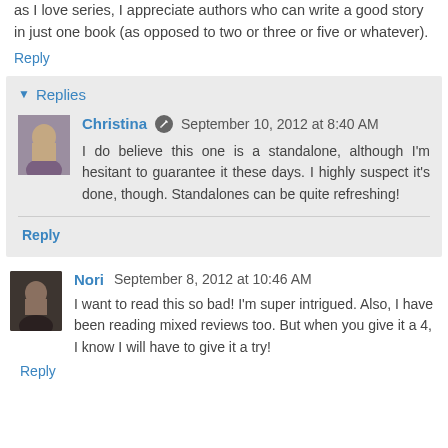as I love series, I appreciate authors who can write a good story in just one book (as opposed to two or three or five or whatever).
Reply
Replies
Christina  September 10, 2012 at 8:40 AM
I do believe this one is a standalone, although I'm hesitant to guarantee it these days. I highly suspect it's done, though. Standalones can be quite refreshing!
Reply
Nori  September 8, 2012 at 10:46 AM
I want to read this so bad! I'm super intrigued. Also, I have been reading mixed reviews too. But when you give it a 4, I know I will have to give it a try!
Reply